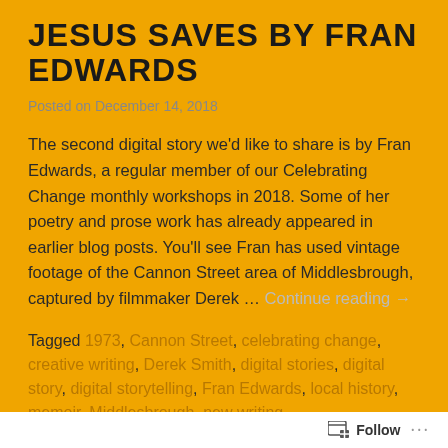JESUS SAVES BY FRAN EDWARDS
Posted on December 14, 2018
The second digital story we'd like to share is by Fran Edwards, a regular member of our Celebrating Change monthly workshops in 2018. Some of her poetry and prose work has already appeared in earlier blog posts. You'll see Fran has used vintage footage of the Cannon Street area of Middlesbrough, captured by filmmaker Derek … Continue reading →
Tagged 1973, Cannon Street, celebrating change, creative writing, Derek Smith, digital stories, digital story, digital storytelling, Fran Edwards, local history, memoir, Middlesbrough, new writing,
Follow